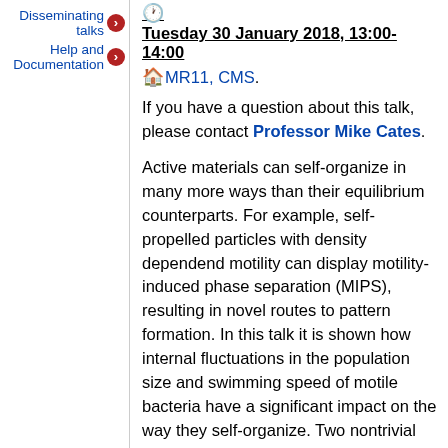Disseminating talks →
Help and Documentation →
🕐 Tuesday 30 January 2018, 13:00-14:00
🏠 MR11, CMS.
If you have a question about this talk, please contact Professor Mike Cates.
Active materials can self-organize in many more ways than their equilibrium counterparts. For example, self-propelled particles with density dependend motility can display motility-induced phase separation (MIPS), resulting in novel routes to pattern formation. In this talk it is shown how internal fluctuations in the population size and swimming speed of motile bacteria have a significant impact on the way they self-organize. Two nontrivial regimes are identified, depending on the population carrying capacity. Below a certain threshold, the fluctuations make